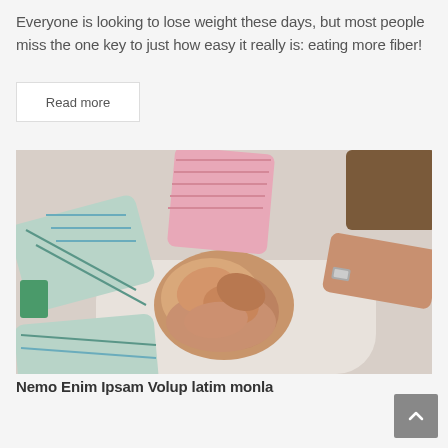Everyone is looking to lose weight these days, but most people miss the one key to just how easy it really is: eating more fiber!
Read more
[Figure (photo): Aerial view of multiple people putting their hands together in a team huddle gesture, photographed from above on a light background. People wearing plaid, pink, and other casual clothing.]
Nemo Enim Ipsam Volup latim monla